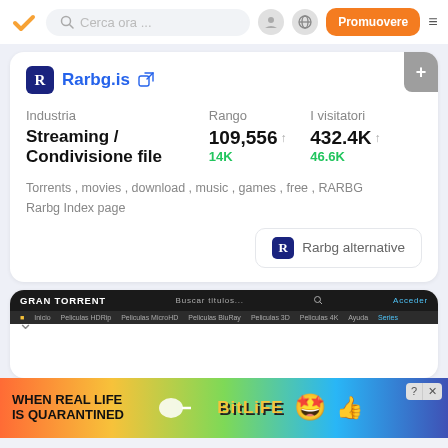Cerca ora ... | Promuovere
Rarbg.is
| Industria | Rango | I visitatori |
| --- | --- | --- |
| Streaming / Condivisione file | 109,556 ↑
14K | 432.4K ↑
46.6K |
Torrents , movies , download , music , games , free , RARBG Rarbg Index page
Rarbg alternative
[Figure (screenshot): Gran Torrent website screenshot showing dark navigation bar with site name and menu items]
[Figure (photo): Advertisement banner: WHEN REAL LIFE IS QUARANTINED - BitLife app ad with colorful background and emoji characters]